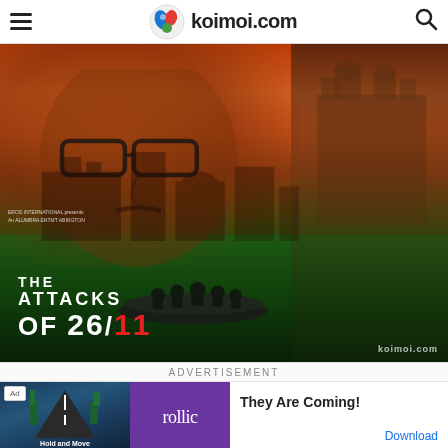koimoi.com
[Figure (photo): Movie poster for 'The Attacks of 26/11' showing a large face of a man with glasses overlaid on a scene of Mumbai with buildings, water, and a boat carrying armed men at the bottom. Koimoi.com watermark visible.]
ADVERTISEMENT
[Figure (other): Advertisement banner for 'rollic' game app reading 'They Are Coming!' with a road/game visual on the left, purple rollic logo, and a Download link.]